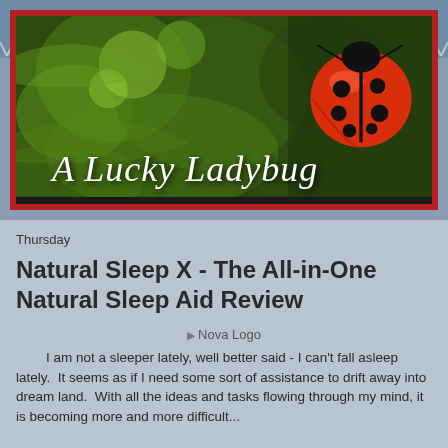[Figure (logo): A Lucky Ladybug blog banner with a ladybug on a green background and cursive white text reading 'A Lucky Ladybug']
Thursday
Natural Sleep X - The All-in-One Natural Sleep Aid Review
[Figure (logo): Nova Logo image placeholder]
I am not a sleeper lately, well better said - I can't fall asleep lately.  It seems as if I need some sort of assistance to drift away into dream land.  With all the ideas and tasks flowing through my mind, it is becoming more and more difficult...